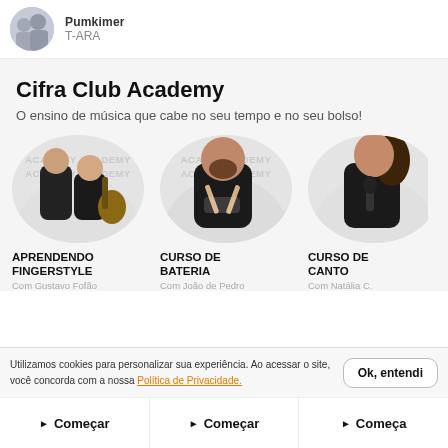[Figure (photo): Round avatar photo of T-ARA group with partial name visible at top]
T-ARA
Cifra Club Academy
O ensino de música que cabe no seu tempo e no seu bolso!
[Figure (photo): Two musicians with guitars - Aprendendo Fingerstyle course thumbnail]
APRENDENDO FINGERSTYLE
Com Gustavo Fofão
[Figure (photo): Man with drumsticks - Curso de Bateria course thumbnail]
CURSO DE BATERIA
Com João de Pedro
[Figure (photo): Woman singing into microphone - Curso de Canto course thumbnail]
CURSO DE CANTO
Com Natália C.
Utilizamos cookies para personalizar sua experiência. Ao acessar o site, você concorda com a nossa Política de Privacidade.
Ok, entendi
Começar
Começar
Começa